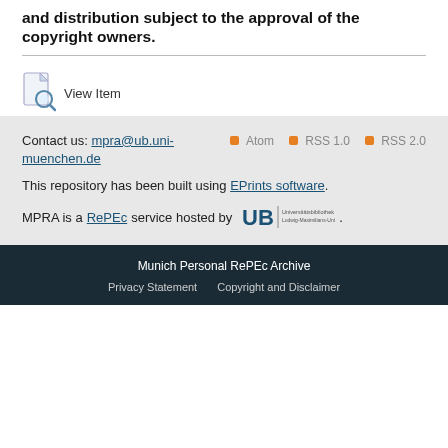and distribution subject to the approval of the copyright owners.
[Figure (illustration): View Item icon — document with magnifying glass]
View Item
Contact us: mpra@ub.uni-muenchen.de
Atom  RSS 1.0  RSS 2.0
This repository has been built using EPrints software.
MPRA is a RePEc service hosted by [UB Ludwig-Maximilians-Universität München].
Munich Personal RePEc Archive  Privacy Statement  Copyright and Disclaimer